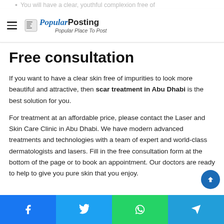You will have a clear, youthful complexion free of
Popular Posting — Popular Place To Post
Free consultation
If you want to have a clear skin free of impurities to look more beautiful and attractive, then scar treatment in Abu Dhabi is the best solution for you.
For treatment at an affordable price, please contact the Laser and Skin Care Clinic in Abu Dhabi. We have modern advanced treatments and technologies with a team of expert and world-class dermatologists and lasers. Fill in the free consultation form at the bottom of the page or to book an appointment. Our doctors are ready to help to give you pure skin that you enjoy.
Facebook | Twitter | WhatsApp | Telegram